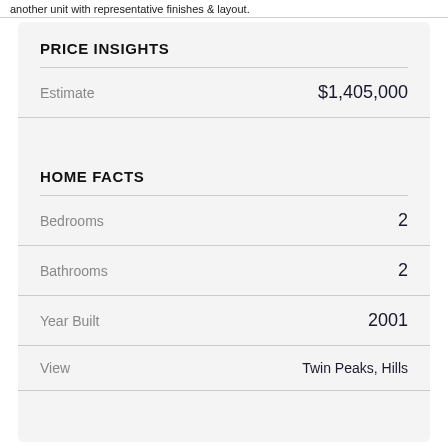another unit with representative finishes & layout.
PRICE INSIGHTS
|  |  |
| --- | --- |
| Estimate | $1,405,000 |
HOME FACTS
|  |  |
| --- | --- |
| Bedrooms | 2 |
| Bathrooms | 2 |
| Year Built | 2001 |
| View | Twin Peaks, Hills |